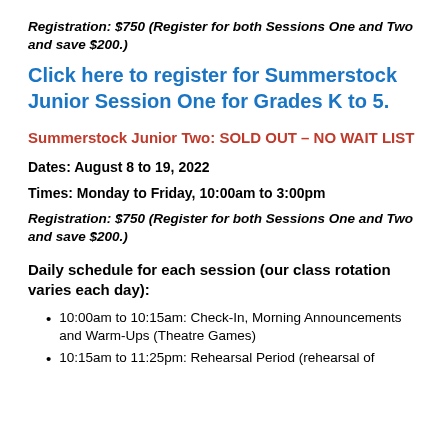Registration: $750 (Register for both Sessions One and Two and save $200.)
Click here to register for Summerstock Junior Session One for Grades K to 5.
Summerstock Junior Two: SOLD OUT – NO WAIT LIST
Dates: August 8 to 19, 2022
Times: Monday to Friday, 10:00am to 3:00pm
Registration: $750 (Register for both Sessions One and Two and save $200.)
Daily schedule for each session (our class rotation varies each day):
10:00am to 10:15am: Check-In, Morning Announcements and Warm-Ups (Theatre Games)
10:15am to 11:25pm: Rehearsal Period (rehearsal of